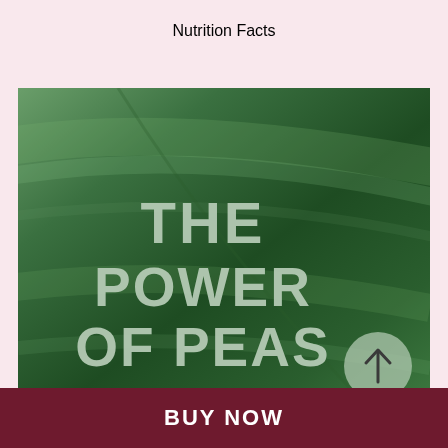Nutrition Facts
[Figure (illustration): Green leaf background with large bold text reading 'THE POWER OF PEAS' and a circular arrow button in the bottom right corner]
THE POWER OF PEAS
BUY NOW